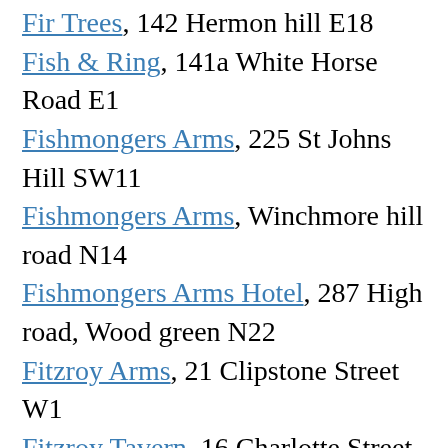Fir Trees, 142 Hermon hill E18
Fish & Ring, 141a White Horse Road E1
Fishmongers Arms, 225 St Johns Hill SW11
Fishmongers Arms, Winchmore hill road N14
Fishmongers Arms Hotel, 287 High road, Wood green N22
Fitzroy Arms, 21 Clipstone Street W1
Fitzroy Tavern, 16 Charlotte Street W1 & 43 Windmill Street W1
Five Bells, 153 & 155 New Cross Road SE14
Five Bells, 535 Old Ford Road E3
Five Bells & Blade Bone, 27 Three Colt Street E14
Flask Tavern. 14 Flask walk NW3